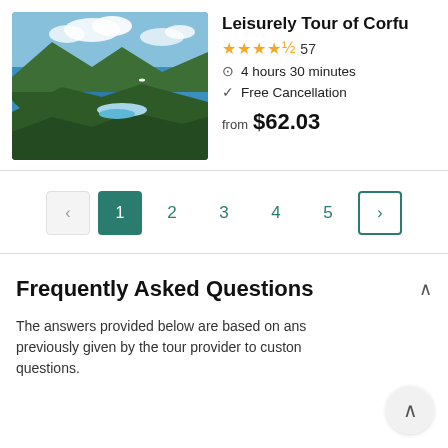[Figure (photo): Aerial view of Corfu coastline with blue sea, green hills, and a bay with scattered islands]
Leisurely Tour of Corfu
★★★★½ 57
4 hours 30 minutes
Free Cancellation
from $62.03
< 1 2 3 4 5 >
Frequently Asked Questions
The answers provided below are based on answers previously given by the tour provider to customer questions.